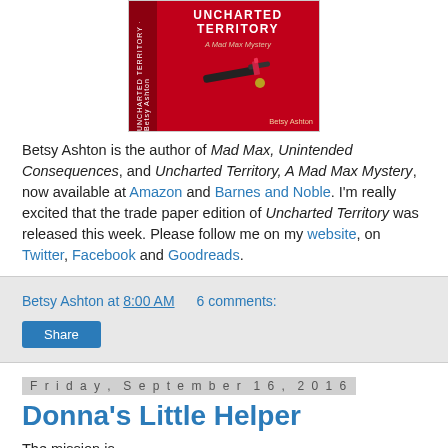[Figure (photo): Book cover of 'Uncharted Territory: A Mad Max Mystery' by Betsy Ashton — red cover with gun and lipstick imagery]
Betsy Ashton is the author of Mad Max, Unintended Consequences, and Uncharted Territory, A Mad Max Mystery, now available at Amazon and Barnes and Noble. I'm really excited that the trade paper edition of Uncharted Territory was released this week. Please follow me on my website, on Twitter, Facebook and Goodreads.
Betsy Ashton at 8:00 AM   6 comments:
Share
Friday, September 16, 2016
Donna's Little Helper
The mission is...